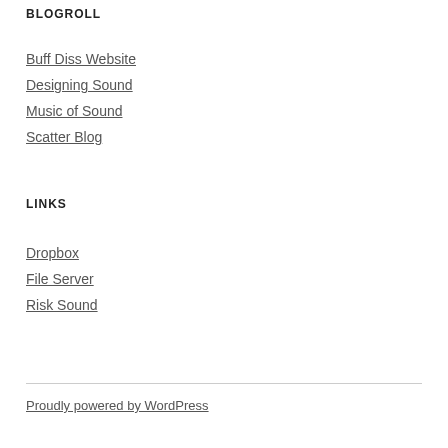BLOGROLL
Buff Diss Website
Designing Sound
Music of Sound
Scatter Blog
LINKS
Dropbox
File Server
Risk Sound
Proudly powered by WordPress